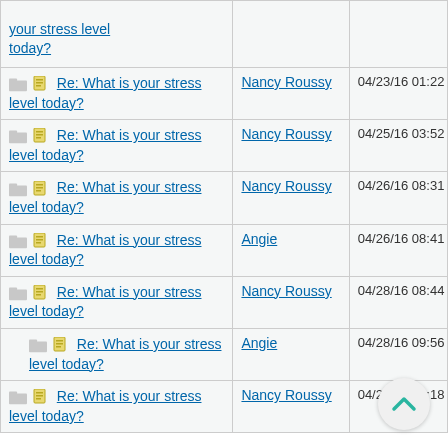| Topic | Author | Date |
| --- | --- | --- |
| Re: What is your stress level today? |  |  |
| Re: What is your stress level today? | Nancy Roussy | 04/23/16 01:22 PM |
| Re: What is your stress level today? | Nancy Roussy | 04/25/16 03:52 PM |
| Re: What is your stress level today? | Nancy Roussy | 04/26/16 08:31 PM |
| Re: What is your stress level today? | Angie | 04/26/16 08:41 PM |
| Re: What is your stress level today? | Nancy Roussy | 04/28/16 08:44 PM |
| Re: What is your stress level today? | Angie | 04/28/16 09:56 PM |
| Re: What is your stress level today? | Nancy Roussy | 04/28/16 11:18 PM |